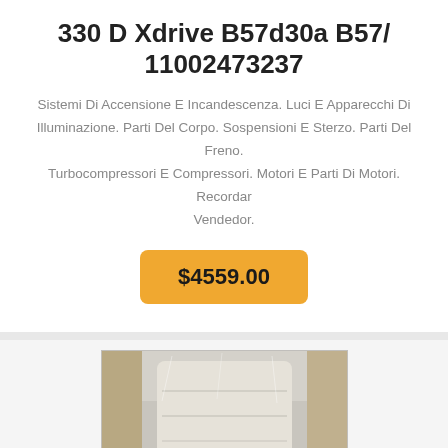330 D Xdrive B57d30a B57/ 11002473237
Sistemi Di Accensione E Incandescenza. Luci E Apparecchi Di Illuminazione. Parti Del Corpo. Sospensioni E Sterzo. Parti Del Freno. Turbocompressori E Compressori. Motori E Parti Di Motori. Recordar Vendedor.
$4559.00
[Figure (photo): A beige/cream colored car seat (appears to be a BMW seat) partially wrapped in plastic packaging material, viewed from above inside a cardboard box or packaging.]